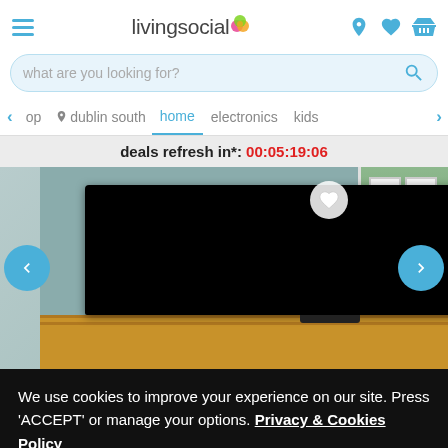livingsocial
what are you looking for?
op  dublin south  home  electronics  kids
deals refresh in*: 00:05:19:06
[Figure (photo): A flat screen TV on a wooden cabinet in a living room with a window in the background]
We use cookies to improve your experience on our site. Press 'ACCEPT' or manage your options. Privacy & Cookies Policy
Options
ACCEPT